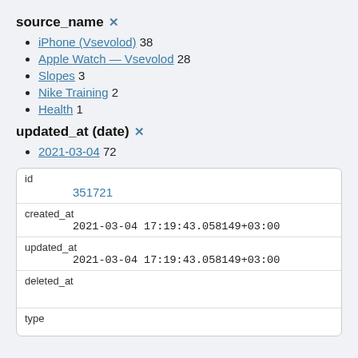source_name ✕
iPhone (Vsevolod) 38
Apple Watch — Vsevolod 28
Slopes 3
Nike Training 2
Health 1
updated_at (date) ✕
2021-03-04 72
| Field | Value |
| --- | --- |
| id | 351721 |
| created_at | 2021-03-04 17:19:43.058149+03:00 |
| updated_at | 2021-03-04 17:19:43.058149+03:00 |
| deleted_at |  |
| type |  |